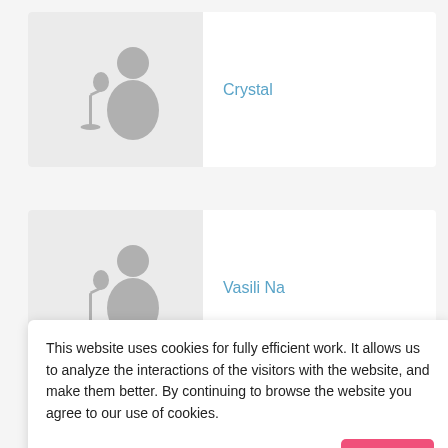[Figure (illustration): Silhouette of a person singing into a microphone on a light grey background thumbnail card]
Crystal
[Figure (illustration): Silhouette of a person singing into a microphone on a light grey background thumbnail card]
Vasili Na
This website uses cookies for fully efficient work. It allows us to analyze the interactions of the visitors with the website, and make them better. By continuing to browse the website you agree to our use of cookies.
Accept